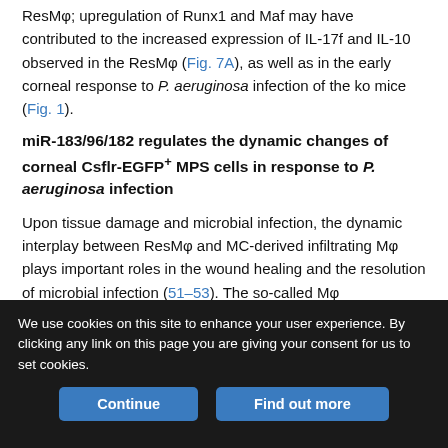ResMφ; upregulation of Runx1 and Maf may have contributed to the increased expression of IL-17f and IL-10 observed in the ResMφ (Fig. 7A), as well as in the early corneal response to P. aeruginosa infection of the ko mice (Fig. 1).
miR-183/96/182 regulates the dynamic changes of corneal Csflr-EGFP+ MPS cells in response to P. aeruginosa infection
Upon tissue damage and microbial infection, the dynamic interplay between ResMφ and MC-derived infiltrating Mφ plays important roles in the wound healing and the resolution of microbial infection (51–53). The so-called Mφ disappearance reaction (51) is considered to allow the immune-regulatory
We use cookies on this site to enhance your user experience. By clicking any link on this page you are giving your consent for us to set cookies.